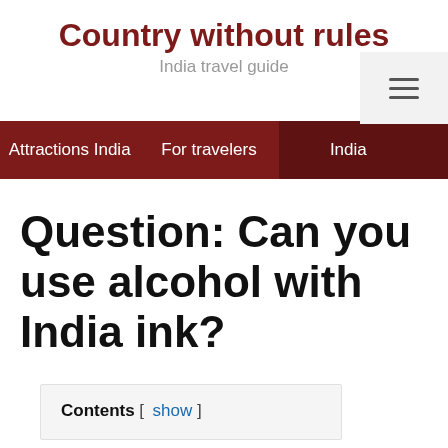Country without rules
India travel guide
Attractions India | For travelers | India
Question: Can you use alcohol with India ink?
Contents [ show ]